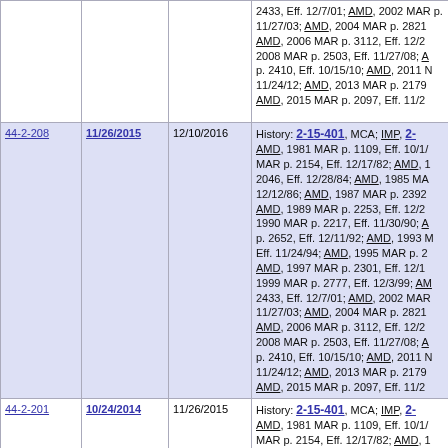| Rule | Effective Date | Next Effective | History |
| --- | --- | --- | --- |
|  |  |  | 2433, Eff. 12/7/01; AMD, 2002 MAR 11/27/03; AMD, 2004 MAR p. 2821 AMD, 2006 MAR p. 3112, Eff. 12/2... 2008 MAR p. 2503, Eff. 11/27/08; A... p. 2410, Eff. 10/15/10; AMD, 2011 M... 11/24/12; AMD, 2013 MAR p. 2179 AMD, 2015 MAR p. 2097, Eff. 11/2... |
| 44-2-208 | 11/26/2015 | 12/10/2016 | History: 2-15-401, MCA; IMP, 2-... AMD, 1981 MAR p. 1109, Eff. 10/1/... MAR p. 2154, Eff. 12/17/82; AMD, ... 2046, Eff. 12/28/84; AMD, 1985 MA... 12/12/86; AMD, 1987 MAR p. 2392... AMD, 1989 MAR p. 2253, Eff. 12/2... 1990 MAR p. 2217, Eff. 11/30/90; A... p. 2652, Eff. 12/11/92; AMD, 1993 M... Eff. 11/24/94; AMD, 1995 MAR p. 2... AMD, 1997 MAR p. 2301, Eff. 12/1... 1999 MAR p. 2777, Eff. 12/3/99; AM... 2433, Eff. 12/7/01; AMD, 2002 MAR 11/27/03; AMD, 2004 MAR p. 2821 AMD, 2006 MAR p. 3112, Eff. 12/2... 2008 MAR p. 2503, Eff. 11/27/08; A... p. 2410, Eff. 10/15/10; AMD, 2011 M... 11/24/12; AMD, 2013 MAR p. 2179 AMD, 2015 MAR p. 2097, Eff. 11/2... |
| 44-2-201 | 10/24/2014 | 11/26/2015 | History: 2-15-401, MCA; IMP, 2-... AMD, 1981 MAR p. 1109, Eff. 10/1/... MAR p. 2154, Eff. 12/17/82; AMD, ... 2046, Eff. 12/28/84; AMD, 1985 MA... 12/12/86; AMD, 1987 MAR p. 2392... |